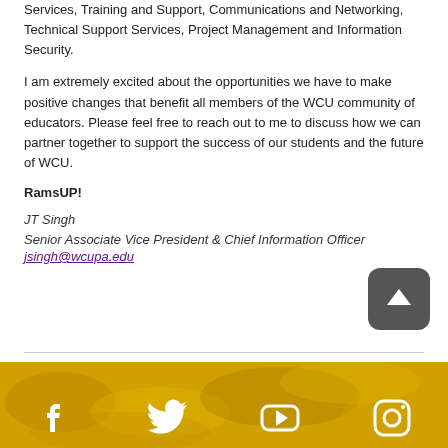Services, Training and Support, Communications and Networking, Technical Support Services, Project Management and Information Security.
I am extremely excited about the opportunities we have to make positive changes that benefit all members of the WCU community of educators. Please feel free to reach out to me to discuss how we can partner together to support the success of our students and the future of WCU.
RamsUP!
JT Singh
Senior Associate Vice President & Chief Information Officer
jsingh@wcupa.edu
[Figure (other): Golden/yellow textured footer background with social media icons (Facebook, Twitter, YouTube, Instagram) and a scroll-to-top button]